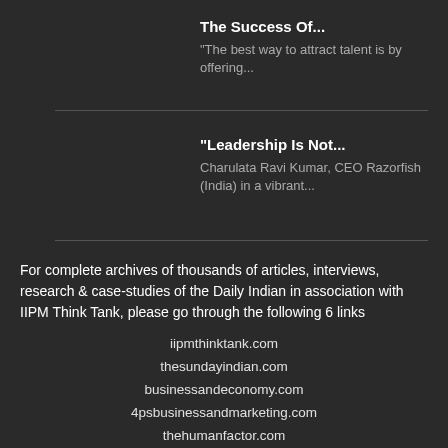The Success Of...
“The best way to attract talent is by offering...
“Leadership Is Not...
Charulata Ravi Kumar, CEO Razorfish (India) in a vibrant...
For complete archives of thousands of articles, interviews, research & case-studies of the Daily Indian in association with IIPM Think Tank, please go through the following 6 links
iipmthinktank.com
thesundayindian.com
businessandeconomy.com
4psbusinessandmarketing.com
thehumanfactor.com
drarindamchaudhuri.blogspot.com